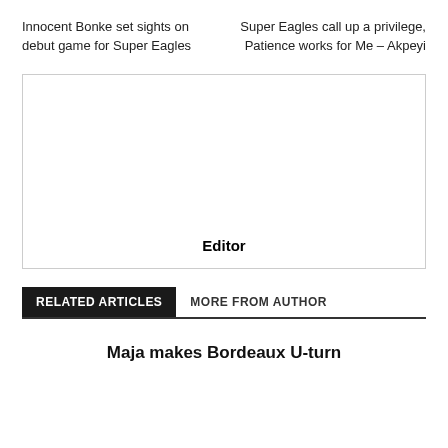Innocent Bonke set sights on debut game for Super Eagles
Super Eagles call up a privilege, Patience works for Me – Akpeyi
[Figure (other): Empty bordered box with 'Editor' label at the bottom center]
RELATED ARTICLES
MORE FROM AUTHOR
Maja makes Bordeaux U-turn